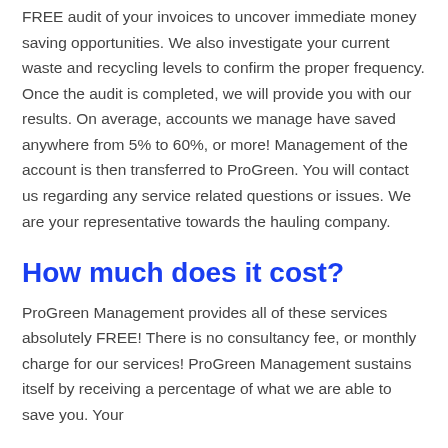FREE audit of your invoices to uncover immediate money saving opportunities. We also investigate your current waste and recycling levels to confirm the proper frequency. Once the audit is completed, we will provide you with our results. On average, accounts we manage have saved anywhere from 5% to 60%, or more! Management of the account is then transferred to ProGreen. You will contact us regarding any service related questions or issues. We are your representative towards the hauling company.
How much does it cost?
ProGreen Management provides all of these services absolutely FREE! There is no consultancy fee, or monthly charge for our services! ProGreen Management sustains itself by receiving a percentage of what we are able to save you. Your